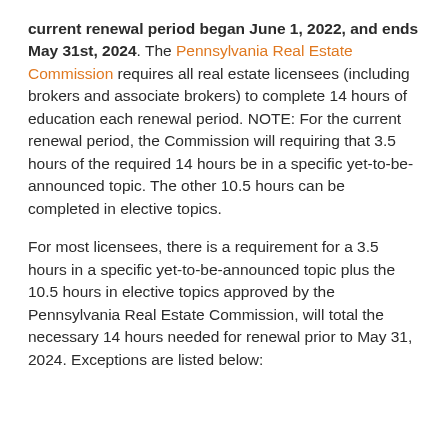current renewal period began June 1, 2022, and ends May 31st, 2024. The Pennsylvania Real Estate Commission requires all real estate licensees (including brokers and associate brokers) to complete 14 hours of education each renewal period. NOTE: For the current renewal period, the Commission will requiring that 3.5 hours of the required 14 hours be in a specific yet-to-be-announced topic. The other 10.5 hours can be completed in elective topics.
For most licensees, there is a requirement for a 3.5 hours in a specific yet-to-be-announced topic plus the 10.5 hours in elective topics approved by the Pennsylvania Real Estate Commission, will total the necessary 14 hours needed for renewal prior to May 31, 2024. Exceptions are listed below: